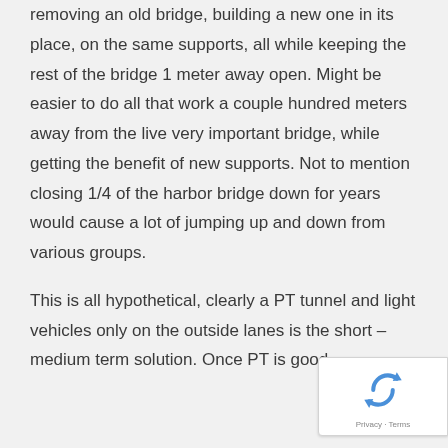removing an old bridge, building a new one in its place, on the same supports, all while keeping the rest of the bridge 1 meter away open. Might be easier to do all that work a couple hundred meters away from the live very important bridge, while getting the benefit of new supports. Not to mention closing 1/4 of the harbor bridge down for years would cause a lot of jumping up and down from various groups.

This is all hypothetical, clearly a PT tunnel and light vehicles only on the outside lanes is the short – medium term solution. Once PT is good
[Figure (other): reCAPTCHA badge with Privacy and Terms text]